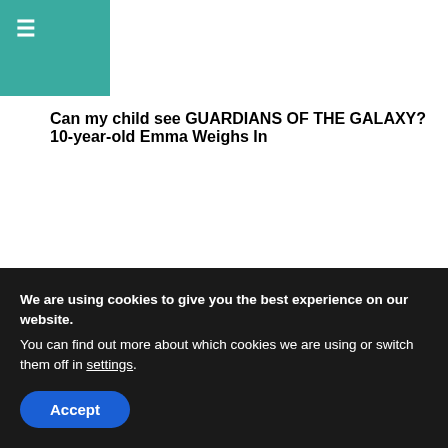≡ (navigation menu)
Can my child see GUARDIANS OF THE GALAXY? 10-year-old Emma Weighs In
FEATURED STORIES
[Figure (photo): Two people near a chain-link fence, with author overlay 'By Michelle Yates']
We are using cookies to give you the best experience on our website.
You can find out more about which cookies we are using or switch them off in settings.
Accept